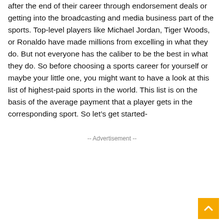after the end of their career through endorsement deals or getting into the broadcasting and media business part of the sports. Top-level players like Michael Jordan, Tiger Woods, or Ronaldo have made millions from excelling in what they do. But not everyone has the caliber to be the best in what they do. So before choosing a sports career for yourself or maybe your little one, you might want to have a look at this list of highest-paid sports in the world. This list is on the basis of the average payment that a player gets in the corresponding sport. So let's get started-
-- Advertisement --